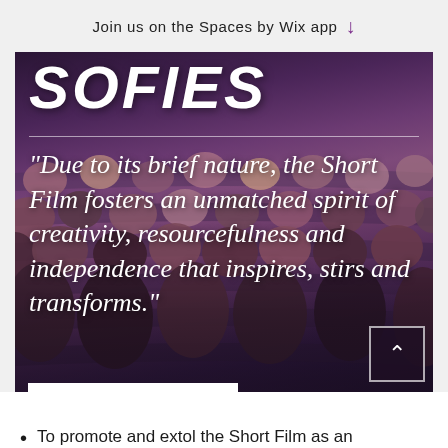Join us on the Spaces by Wix app
[Figure (photo): Theatre audience viewed from behind, showing rows of seats with people's heads. Dark, moody background with purple/dark red tones.]
SOFIES
“Due to its brief nature, the Short Film fosters an unmatched spirit of creativity, resourcefulness and independence that inspires, stirs and transforms.”
Our Mission
To promote and extol the Short Film as an important and unique